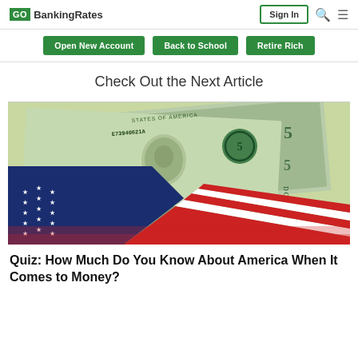GOBankingRates | Sign In | Search | Menu
Open New Account | Back to School | Retire Rich
Check Out the Next Article
[Figure (photo): American flag overlaid with US dollar bills featuring serial number E73940621A]
Quiz: How Much Do You Know About America When It Comes to Money?